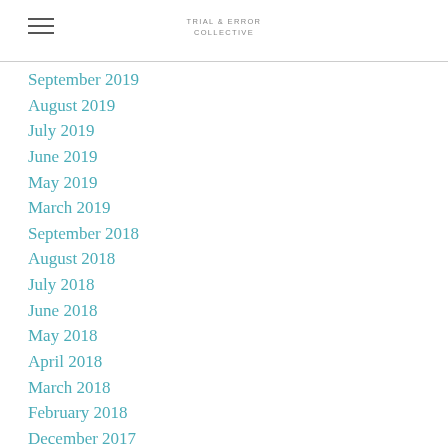TRIAL & ERROR COLLECTIVE
September 2019
August 2019
July 2019
June 2019
May 2019
March 2019
September 2018
August 2018
July 2018
June 2018
May 2018
April 2018
March 2018
February 2018
December 2017
November 2017
October 2017